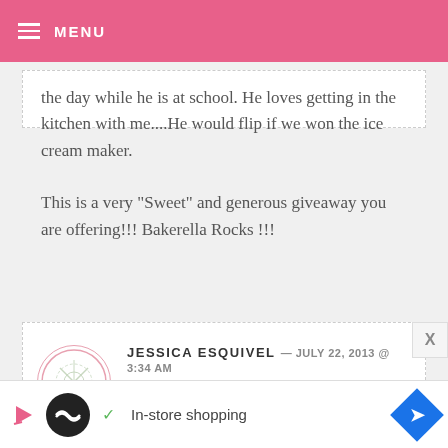MENU
the day while he is at school. He loves getting in the kitchen with me....He would flip if we won the ice cream maker.
This is a very “Sweet” and generous giveaway you are offering!!! Bakerella Rocks !!!
JESSICA ESQUIVEL — JULY 22, 2013 @ 3:34 AM
REPLY
[Figure (other): Advertisement bar with black circle logo, checkmark, 'In-store shopping' text, and blue diamond arrow icon]